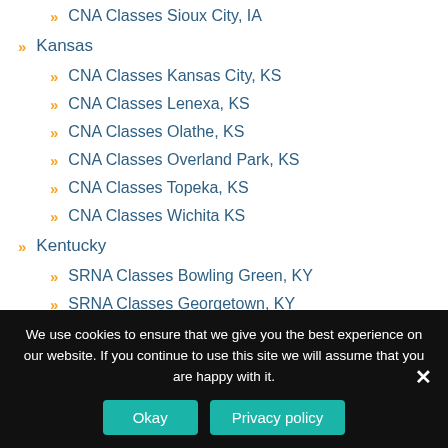CNA Classes Sioux City, IA
Kansas
CNA Classes Kansas City, KS
CNA Classes Lenexa, KS
CNA Classes Olathe, KS
CNA Classes Overland Park, KS
CNA Classes Topeka, KS
CNA Classes Wichita KS
Kentucky
SRNA Classes Bowling Green, KY
SRNA Classes Georgetown, KY
SRNA Classes Lexington, KY
SRNA Classes Louisville, KY
We use cookies to ensure that we give you the best experience on our website. If you continue to use this site we will assume that you are happy with it.